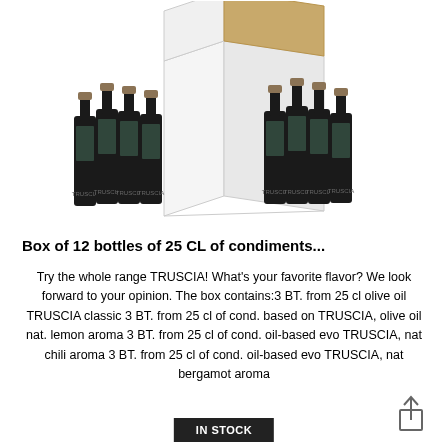[Figure (photo): Photo of an open white cardboard box with 12 dark glass bottles of TRUSCIA olive oil condiments arranged in two groups on either side of the box]
Box of 12 bottles of 25 CL of condiments...
Try the whole range TRUSCIA! What's your favorite flavor? We look forward to your opinion. The box contains:3 BT. from 25 cl olive oil TRUSCIA classic 3 BT. from 25 cl of cond. based on TRUSCIA, olive oil nat. lemon aroma 3 BT. from 25 cl of cond. oil-based evo TRUSCIA, nat chili aroma 3 BT. from 25 cl of cond. oil-based evo TRUSCIA, nat bergamot aroma
IN STOCK